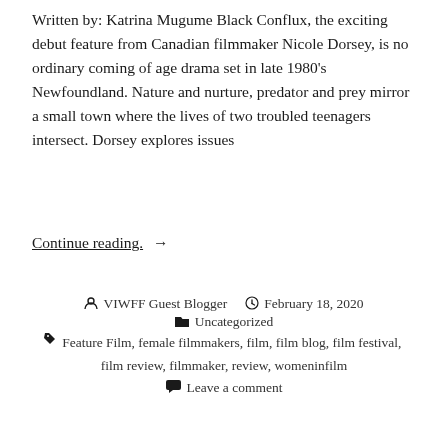Written by: Katrina Mugume Black Conflux, the exciting debut feature from Canadian filmmaker Nicole Dorsey, is no ordinary coming of age drama set in late 1980's Newfoundland. Nature and nurture, predator and prey mirror a small town where the lives of two troubled teenagers intersect. Dorsey explores issues
Continue reading. →
VIWFF Guest Blogger  February 18, 2020  Uncategorized  Feature Film, female filmmakers, film, film blog, film festival, film review, filmmaker, review, womeninfilm  Leave a comment